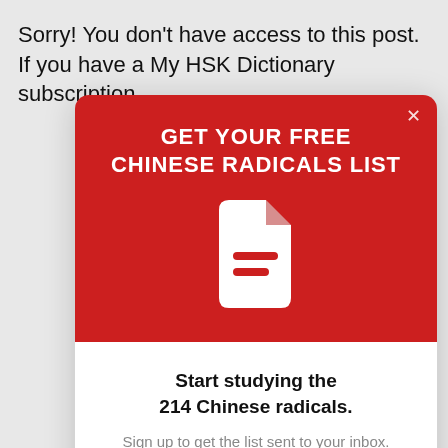Sorry! You don't have access to this post. If you have a My HSK Dictionary subscription.
GET YOUR FREE CHINESE RADICALS LIST
[Figure (illustration): White document/file icon with lines representing text, on red background]
Start studying the 214 Chinese radicals.
Sign up to get the list sent to your inbox.
Email here...